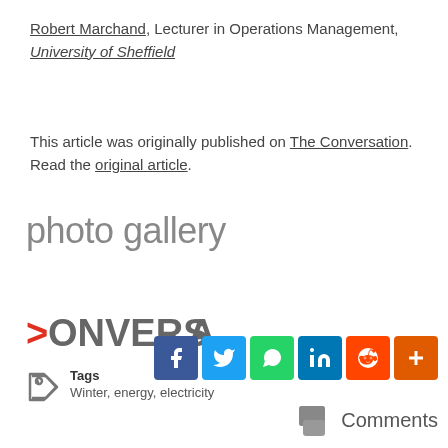Robert Marchand, Lecturer in Operations Management, University of Sheffield
This article was originally published on The Conversation. Read the original article.
photo gallery
[Figure (logo): The Conversation logo showing partial text: CONVERSA with red stylized C]
Tags
Winter, energy, electricity
[Figure (infographic): Social share buttons: Facebook, Twitter, WhatsApp, LinkedIn, Reddit, plus]
Comments